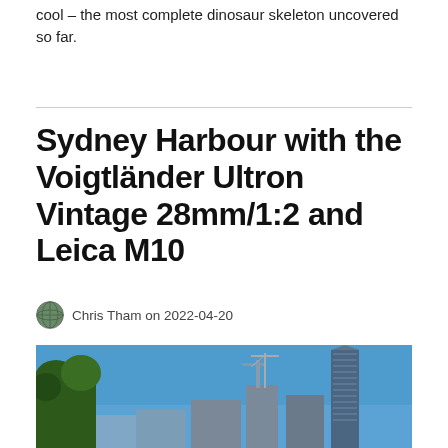cool – the most complete dinosaur skeleton uncovered so far.
Sydney Harbour with the Voigtländer Ultron Vintage 28mm/1:2 and Leica M10
Chris Tham on 2022-04-20
[Figure (photo): Photo of Sydney city skyline with tall modern skyscrapers against a bright blue sky, with trees visible on the left side.]